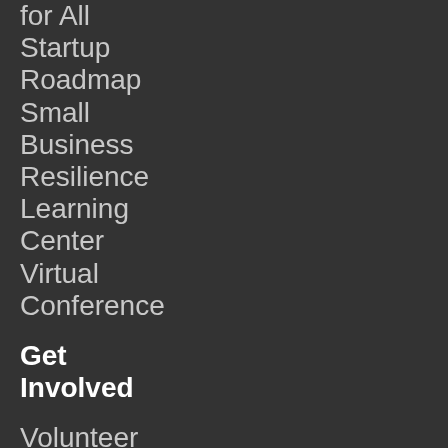for All
Startup
Roadmap
Small
Business
Resilience
Learning
Center
Virtual
Conference
Get Involved
Volunteer
Careers
Partner